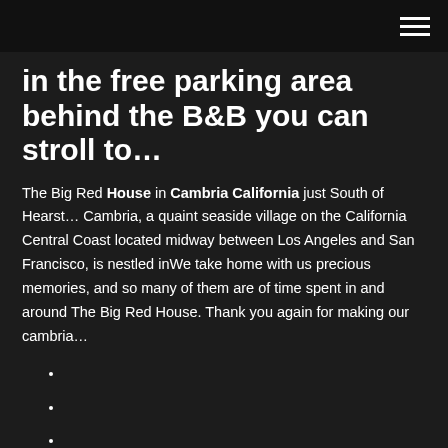[hamburger menu icon]
in the free parking area behind the B&B you can stroll to…
The Big Red House in Cambria California just South of Hearst… Cambria, a quaint seaside village on the California Central Coast located midway between Los Angeles and San Francisco, is nestled inWe take home with us precious memories, and so many of them are of time spent in and around The Big Red House. Thank you again for making our cambria…